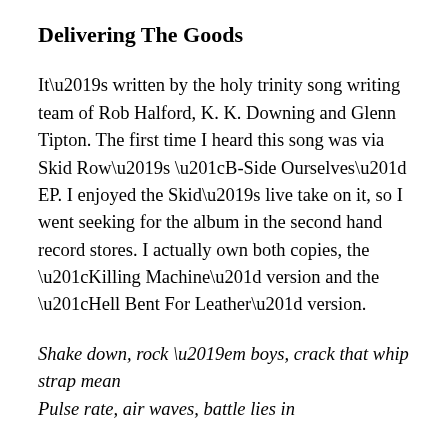Delivering The Goods
It’s written by the holy trinity song writing team of Rob Halford, K. K. Downing and Glenn Tipton. The first time I heard this song was via Skid Row’s “B-Side Ourselves” EP. I enjoyed the Skid’s live take on it, so I went seeking for the album in the second hand record stores. I actually own both copies, the “Killing Machine” version and the “Hell Bent For Leather” version.
Shake down, rock ’em boys, crack that whip strap mean
Pulse rate, air waves, battle lies in